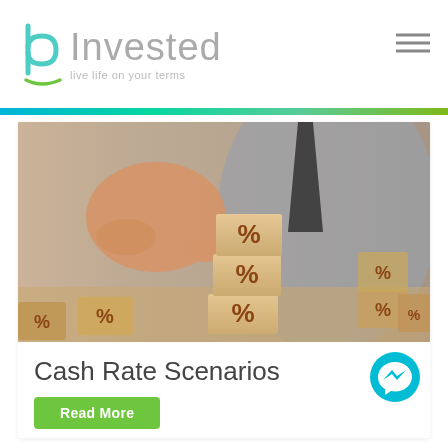[Figure (logo): bInvested logo — a stylized 'b' in teal/green outline alongside the word 'Invested' in light gray, with tagline 'live life on your terms']
[Figure (photo): A person's hand placing a wooden cube with a percent sign on top of a stack of similar cubes, with more cubes visible in the background. Business/finance theme.]
Cash Rate Scenarios
Read More